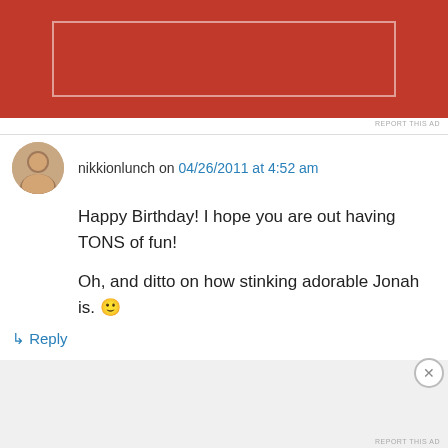[Figure (other): Red advertisement banner at top of page with white border rectangle inside]
REPORT THIS AD
nikkionlunch on 04/26/2011 at 4:52 am
Happy Birthday! I hope you are out having TONS of fun!

Oh, and ditto on how stinking adorable Jonah is. 🙂
↳ Reply
Advertisements
[Figure (other): DuckDuckGo advertisement: Search, browse, and email with more privacy. All in One Free App. Shows phone with DuckDuckGo logo.]